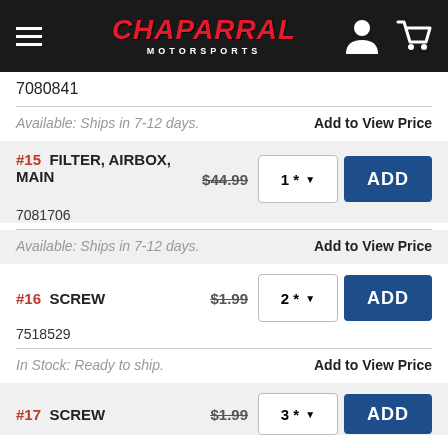Chaparral Motorsports
7080841
Available: Ships in 7-12 days.    Add to View Price
#15 FILTER, AIRBOX, MAIN  $44.99  1*  ADD
7081706
Available: Ships in 7-12 days.    Add to View Price
#16 SCREW  $1.99  2*  ADD
7518529
In Stock: Ready to ship.    Add to View Price
#17 SCREW  $1.99  3*  ADD